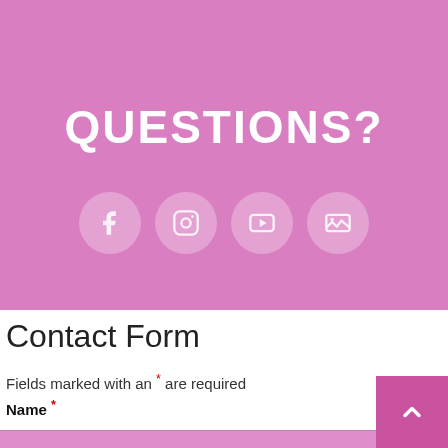QUESTIONS?
[Figure (illustration): Four social media icon circles: Facebook, Instagram, YouTube, and a gallery/image icon, displayed in semi-transparent white circles on a pink background.]
Contact Form
Fields marked with an * are required
Name *